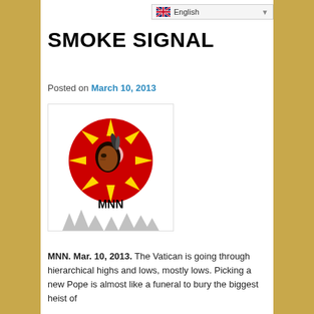[Figure (screenshot): Language selector dropdown showing English with UK flag]
SMOKE SIGNAL
Posted on March 10, 2013
[Figure (logo): MNN logo: red circle with sun rays, Native American profile in center, MNN text below, silhouette of trees at bottom]
MNN. Mar. 10, 2013. The Vatican is going through hierarchical highs and lows, mostly lows. Picking a new Pope is almost like a funeral to bury the biggest heist of